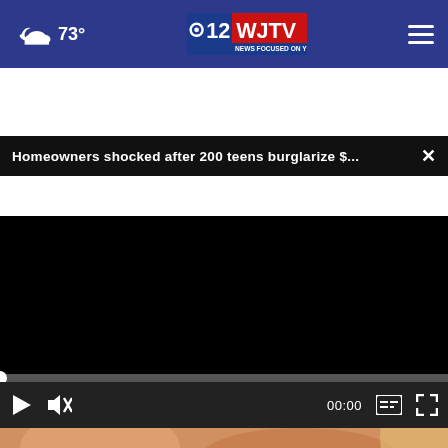73° — WJTV 12 News Focused On You
Homeowners shocked after 200 teens burglarize $...
[Figure (screenshot): Black video player area showing a paused/unloaded video with progress bar at 0 and controls including play, mute, time display 00:00, captions, and fullscreen buttons]
[Figure (screenshot): ATD advertisement overlay with logo, text 'Developing Your Workforce', and an orange Open button]